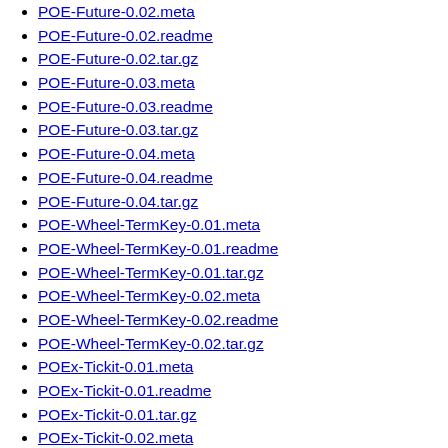POE-Future-0.02.meta
POE-Future-0.02.readme
POE-Future-0.02.tar.gz
POE-Future-0.03.meta
POE-Future-0.03.readme
POE-Future-0.03.tar.gz
POE-Future-0.04.meta
POE-Future-0.04.readme
POE-Future-0.04.tar.gz
POE-Wheel-TermKey-0.01.meta
POE-Wheel-TermKey-0.01.readme
POE-Wheel-TermKey-0.01.tar.gz
POE-Wheel-TermKey-0.02.meta
POE-Wheel-TermKey-0.02.readme
POE-Wheel-TermKey-0.02.tar.gz
POEx-Tickit-0.01.meta
POEx-Tickit-0.01.readme
POEx-Tickit-0.01.tar.gz
POEx-Tickit-0.02.meta
POEx-Tickit-0.02.readme
POEx-Tickit-0.02.tar.gz
POEx-Tickit-0.04.meta
POEx-Tickit-0.04.readme
POEx-Tickit-0.04.tar.gz
Parse-Man-0.01.meta